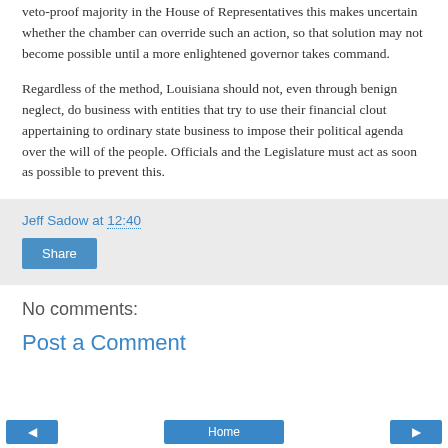veto-proof majority in the House of Representatives this makes uncertain whether the chamber can override such an action, so that solution may not become possible until a more enlightened governor takes command.
Regardless of the method, Louisiana should not, even through benign neglect, do business with entities that try to use their financial clout appertaining to ordinary state business to impose their political agenda over the will of the people. Officials and the Legislature must act as soon as possible to prevent this.
Jeff Sadow at 12:40
Share
No comments:
Post a Comment